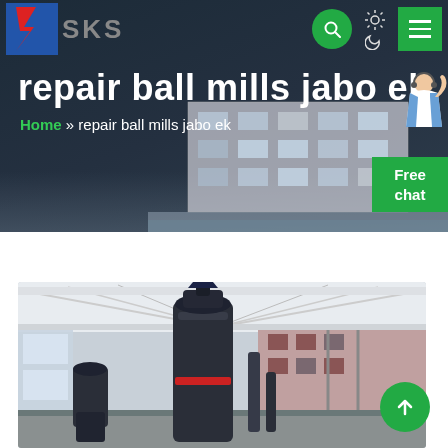[Figure (screenshot): Website header/hero section for SKS company showing navigation bar with logo, search button, theme toggle, and menu button. Dark overlay background with building in background.]
repair ball mills jabo ek
Home » repair ball mills jabo ek
[Figure (photo): Industrial factory interior photo showing large dark-colored ball mill machinery under a steel roof structure with red-accented building visible in background.]